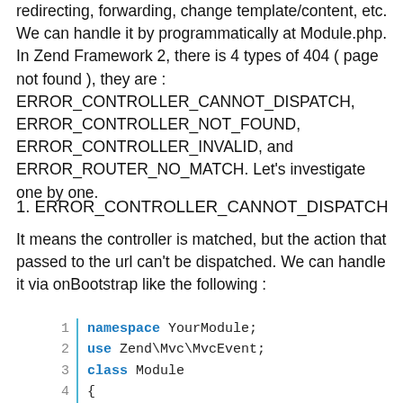redirecting, forwarding, change template/content, etc. We can handle it by programmatically at Module.php. In Zend Framework 2, there is 4 types of 404 ( page not found ), they are : ERROR_CONTROLLER_CANNOT_DISPATCH, ERROR_CONTROLLER_NOT_FOUND, ERROR_CONTROLLER_INVALID, and ERROR_ROUTER_NO_MATCH.  Let's investigate one by one.
1. ERROR_CONTROLLER_CANNOT_DISPATCH
It means the controller is matched, but the action that passed to the url can't be dispatched. We can handle it via onBootstrap like the following :
[Figure (screenshot): Code block showing PHP namespace, use, and class declarations with line numbers 1-5 and a green bar border on the left.]